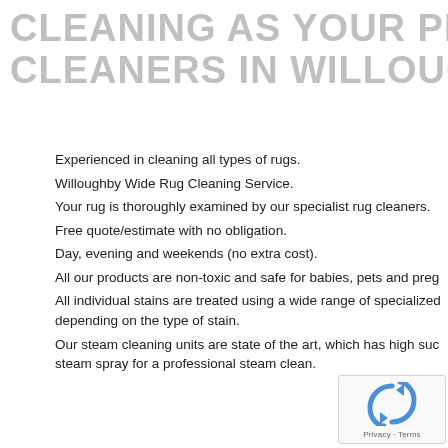CLEANING AS YOUR PREFER CLEANERS IN WILLOUGHBY
Experienced in cleaning all types of rugs.
Willoughby Wide Rug Cleaning Service.
Your rug is thoroughly examined by our specialist rug cleaners.
Free quote/estimate with no obligation.
Day, evening and weekends (no extra cost).
All our products are non-toxic and safe for babies, pets and preg...
All individual stains are treated using a wide range of specialized depending on the type of stain.
Our steam cleaning units are state of the art, which has high suc... steam spray for a professional steam clean.
[Figure (logo): reCAPTCHA logo with Privacy and Terms labels]